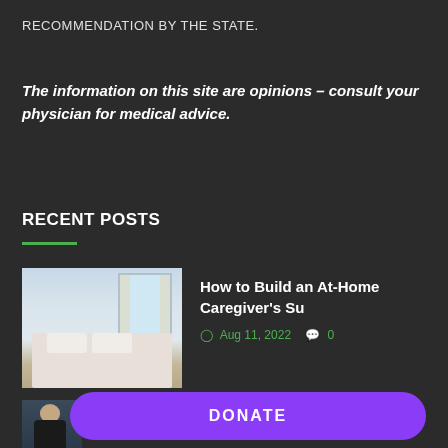RECOMMENDATION BY THE STATE.
The information on this site are opinions – consult your physician for medical advice.
RECENT POSTS
How to Build an At-Home Caregiver's Su
Aug 11, 2022   0
[Figure (photo): Bedroom with white bed and curtained window]
[Figure (photo): Person in dark clothing, partially visible]
DONATE